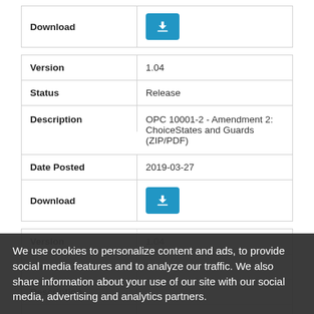| Field | Value |
| --- | --- |
| Download | [button] |
| Field | Value |
| --- | --- |
| Version | 1.04 |
| Status | Release |
| Description | OPC 10001-2 - Amendment 2: ChoiceStates and Guards (ZIP/PDF) |
| Date Posted | 2019-03-27 |
| Download | [button] |
| Field | Value |
| --- | --- |
| Version | 1.04 |
| Status | Release |
| Description | (partially visible) |
| Date Posted | 2019-03-27 |
| Download | [button] |
We use cookies to personalize content and ads, to provide social media features and to analyze our traffic. We also share information about your use of our site with our social media, advertising and analytics partners.